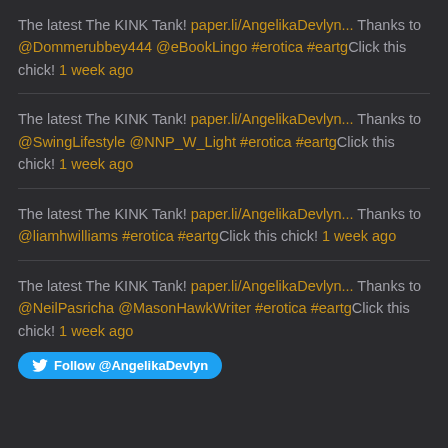The latest The KINK Tank! paper.li/AngelikaDevlyn... Thanks to @Dommerubbey444 @eBookLingo #erotica #eartgClick this chick! 1 week ago
The latest The KINK Tank! paper.li/AngelikaDevlyn... Thanks to @SwingLifestyle @NNP_W_Light #erotica #eartgClick this chick! 1 week ago
The latest The KINK Tank! paper.li/AngelikaDevlyn... Thanks to @liamhwilliams #erotica #eartgClick this chick! 1 week ago
The latest The KINK Tank! paper.li/AngelikaDevlyn... Thanks to @NeilPasricha @MasonHawkWriter #erotica #eartgClick this chick! 1 week ago
Follow @AngelikaDevlyn